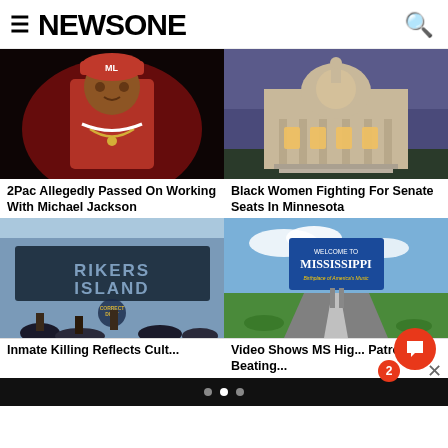NEWSONE
[Figure (photo): 2Pac wearing red outfit and red baseball cap against dark background]
2Pac Allegedly Passed On Working With Michael Jackson
[Figure (photo): Minnesota State Capitol building lit up at dusk with golden dome]
Black Women Fighting For Senate Seats In Minnesota
[Figure (photo): Rikers Island sign with correctional officers and protesters in foreground]
Inmate Killing Reflects Culture...
[Figure (photo): Welcome to Mississippi road sign with green fields and blue sky]
Video Shows MS Highway Patrolman Beating...